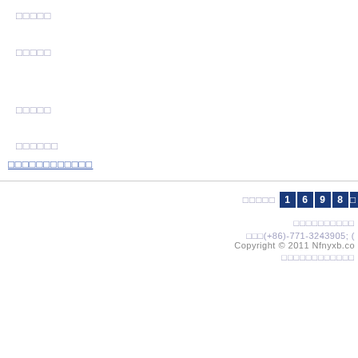□□□□□
□□□□□
□□□□□
□□□□□□
□□□□□□□□□□□□
□□□□□ 1 6 9 8 □   □□□□□□□□□□   □□□(+86)-771-3243905; (   Copyright © 2011 Nfnyxb.co   □□□□□□□□□□□□